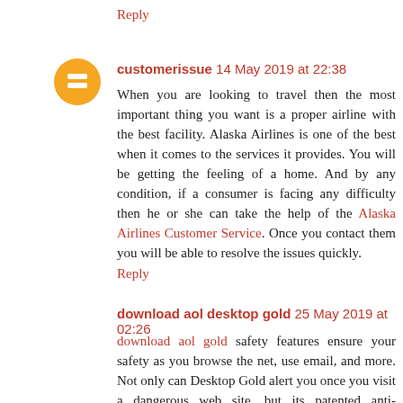Reply
customerissue 14 May 2019 at 22:38
When you are looking to travel then the most important thing you want is a proper airline with the best facility. Alaska Airlines is one of the best when it comes to the services it provides. You will be getting the feeling of a home. And by any condition, if a consumer is facing any difficulty then he or she can take the help of the Alaska Airlines Customer Service. Once you contact them you will be able to resolve the issues quickly.
Reply
download aol desktop gold 25 May 2019 at 02:26
download aol gold safety features ensure your safety as you browse the net, use email, and more. Not only can Desktop Gold alert you once you visit a dangerous web site, but its patented anti-keylogging technology can also disguise your keystrokes to anyone that tries to steal your